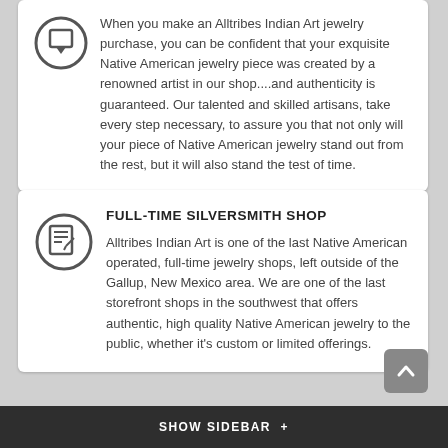When you make an Alltribes Indian Art jewelry purchase, you can be confident that your exquisite Native American jewelry piece was created by a renowned artist in our shop....and authenticity is guaranteed. Our talented and skilled artisans, take every step necessary, to assure you that not only will your piece of Native American jewelry stand out from the rest, but it will also stand the test of time.
FULL-TIME SILVERSMITH SHOP
Alltribes Indian Art is one of the last Native American operated, full-time jewelry shops, left outside of the Gallup, New Mexico area. We are one of the last storefront shops in the southwest that offers authentic, high quality Native American jewelry to the public, whether it's custom or limited offerings.
SHOW SIDEBAR +